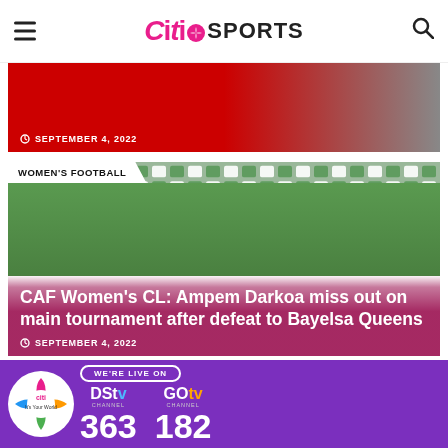Citi SPORTS
[Figure (photo): Partial top of a sports article image with timestamp showing September 4, 2022]
SEPTEMBER 4, 2022
[Figure (photo): Women's football match photo showing two players on a pitch with stadium seats in background. Category badge reads WOMEN'S FOOTBALL.]
CAF Women's CL: Ampem Darkoa miss out on main tournament after defeat to Bayelsa Queens
SEPTEMBER 4, 2022
[Figure (infographic): Purple advertisement banner for Citi TV showing DStv Channel 363 and GOtv Channel 182, with WE'RE LIVE ON text]